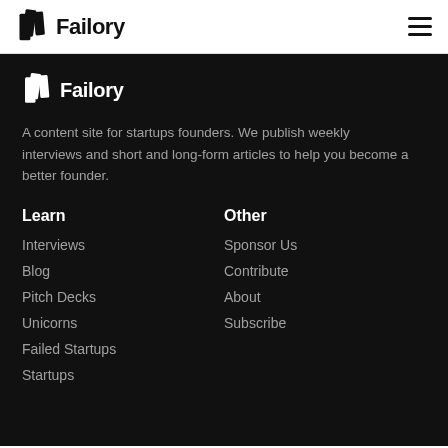Failory
[Figure (logo): Failory logo with book-like icon and bold text in top navigation bar]
[Figure (logo): Failory logo with book-like icon and bold white text in dark footer section]
A content site for startups founders. We publish weekly interviews and short and long-form articles to help you become a better founder.
Learn
Interviews
Blog
Pitch Decks
Unicorns
Failed Startups
Startups
Other
Sponsor Us
Contribute
About
Subscribe